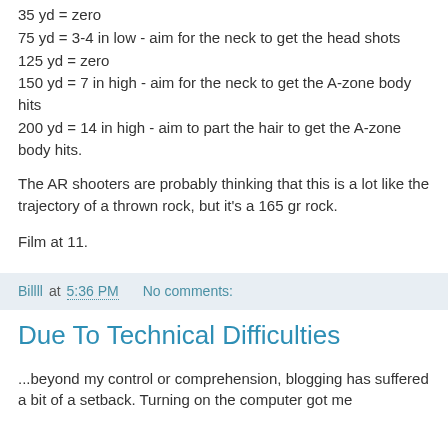35 yd = zero
75 yd = 3-4 in low - aim for the neck to get the head shots
125 yd = zero
150 yd = 7 in high - aim for the neck to get the A-zone body hits
200 yd = 14 in high - aim to part the hair to get the A-zone body hits.
The AR shooters are probably thinking that this is a lot like the trajectory of a thrown rock, but it's a 165 gr rock.
Film at 11.
Billll at 5:36 PM    No comments:
Due To Technical Difficulties
...beyond my control or comprehension, blogging has suffered a bit of a setback. Turning on the computer got me